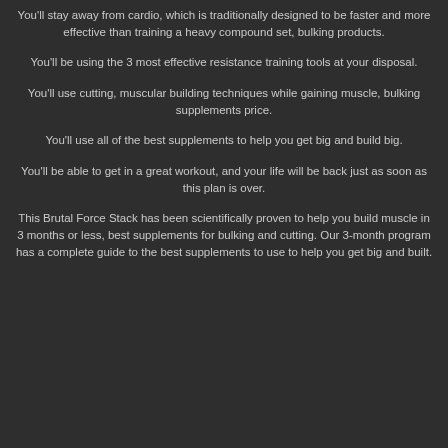You'll stay away from cardio, which is traditionally designed to be faster and more effective than training a heavy compound set, bulking products.
You'll be using the 3 most effective resistance training tools at your disposal.
You'll use cutting, muscular building techniques while gaining muscle, bulking supplements price.
You'll use all of the best supplements to help you get big and build big.
You'll be able to get in a great workout, and your life will be back just as soon as this plan is over.
This Brutal Force Stack has been scientifically proven to help you build muscle in 3 months or less, best supplements for bulking and cutting. Our 3-month program has a complete guide to the best supplements to use to help you get big and built.